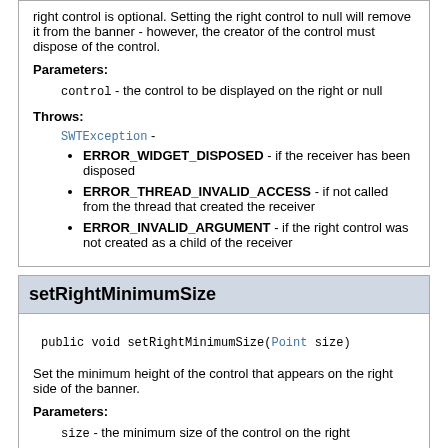right control is optional. Setting the right control to null will remove it from the banner - however, the creator of the control must dispose of the control.
Parameters:
control - the control to be displayed on the right or null
Throws:
SWTException -
ERROR_WIDGET_DISPOSED - if the receiver has been disposed
ERROR_THREAD_INVALID_ACCESS - if not called from the thread that created the receiver
ERROR_INVALID_ARGUMENT - if the right control was not created as a child of the receiver
setRightMinimumSize
public void setRightMinimumSize(Point size)
Set the minimum height of the control that appears on the right side of the banner.
Parameters:
size - the minimum size of the control on the right
Throws:
SWTException